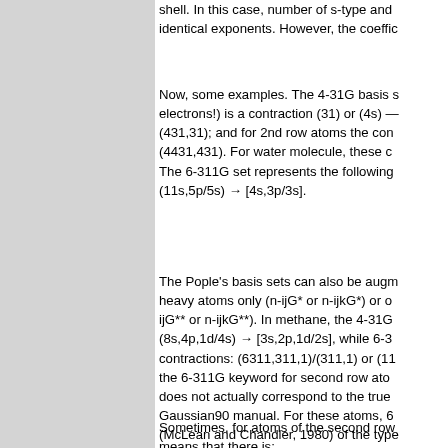shell. In this case, number of s-type and identical exponents. However, the coeffic
Now, some examples. The 4-31G basis s electrons!) is a contraction (31) or (4s) — (431,31); and for 2nd row atoms the con (4431,431). For water molecule, these c The 6-311G set represents the following (11s,5p/5s) → [4s,3p/3s].
The Pople's basis sets can also be augm heavy atoms only (n-ijG* or n-ijkG*) or o ijG** or n-ijkG**). In methane, the 4-31G (8s,4p,1d/4s) → [3s,2p,1d/2s], while 6-3 contractions: (6311,311,1)/(311,1) or (11 the 6-311G keyword for second row ato does not actually correspond to the true Gaussian90 manual. For these atoms, 6 (McLean and Chandler, 1980) of the type (631111,42111). Note, that one of the s- and Cl correspond actually to the "anion' were deemed to give better results for ne
Sometimes, for atoms of the second row means that there is: